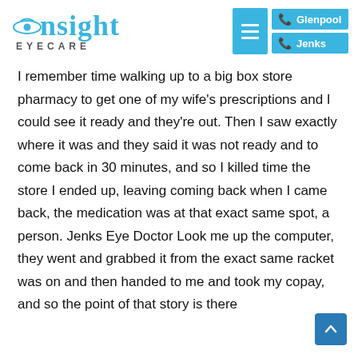[Figure (logo): Insight Eyecare logo with eye icon and navigation buttons for Glenpool and Jenks locations]
I remember time walking up to a big box store pharmacy to get one of my wife's prescriptions and I could see it ready and they're out. Then I saw exactly where it was and they said it was not ready and to come back in 30 minutes, and so I killed time the store I ended up, leaving coming back when I came back, the medication was at that exact same spot, a person. Jenks Eye Doctor Look me up the computer, they went and grabbed it from the exact same racket was on and then handed to me and took my copay, and so the point of that story is there